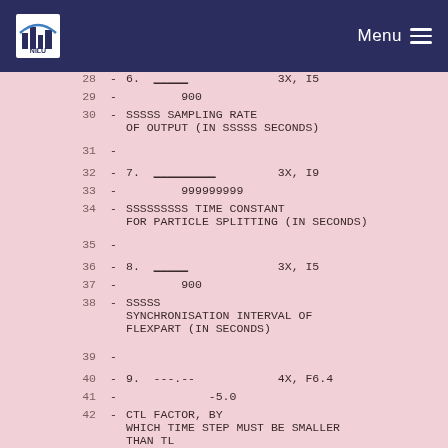NILU — Menu
28  -  6.  _____  3X, I5
29  -  900
30  -  SSSSS  SAMPLING RATE OF OUTPUT (IN SSSSS SECONDS)
31  -
32  -  7.  _________  3X, I9
33  -  999999999
34  -  SSSSSSSSS  TIME CONSTANT FOR PARTICLE SPLITTING (IN SECONDS)
35  -
36  -  8.  _____  3X, I5
37  -  900
38  -  SSSSS  SYNCHRONISATION INTERVAL OF FLEXPART (IN SECONDS)
39  -
40  -  9.  ---.--  4X, F6.4
41  -  -5.0
42  -  CTL  FACTOR, BY WHICH TIME STEP MUST BE SMALLER THAN TL